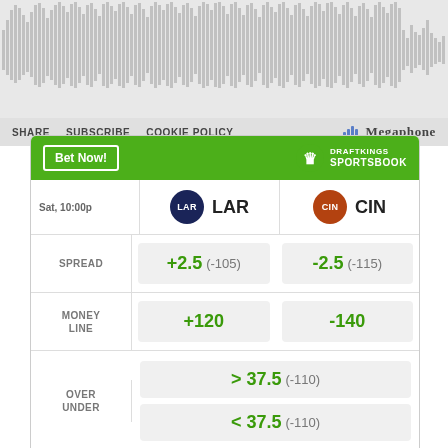[Figure (other): Podcast audio waveform player with gray background showing dense vertical waveform bars]
SHARE   SUBSCRIBE   COOKIE POLICY   Megaphone
|  | LAR | CIN |
| --- | --- | --- |
| Sat, 10:00p | LAR | CIN |
| SPREAD | +2.5 (-105) | -2.5 (-115) |
| MONEY LINE | +120 | -140 |
| OVER UNDER | > 37.5 (-110) | < 37.5 (-110) |
Odds/Lines subject to change. See draftkings.com for details.